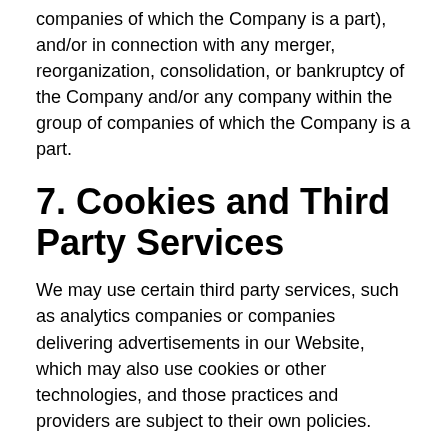companies of which the Company is a part), and/or in connection with any merger, reorganization, consolidation, or bankruptcy of the Company and/or any company within the group of companies of which the Company is a part.
7. Cookies and Third Party Services
We may use certain third party services, such as analytics companies or companies delivering advertisements in our Website, which may also use cookies or other technologies, and those practices and providers are subject to their own policies.
Cookie (which is a small text file) is installed on the device via which you visit or access the Website. The cookies shall allow Us to collect information about you and your behavior, in order to improve your user experience, to remember your preferences and settings, and to customize and offer you